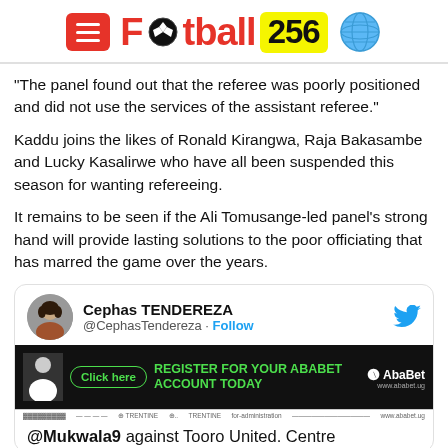Football 256
“The panel found out that the referee was poorly positioned and did not use the services of the assistant referee.”
Kaddu joins the likes of Ronald Kirangwa, Raja Bakasambe and Lucky Kasalirwe who have all been suspended this season for wanting refereeing.
It remains to be seen if the Ali Tomusange-led panel’s strong hand will provide lasting solutions to the poor officiating that has marred the game over the years.
[Figure (screenshot): Embedded tweet card from @CephasTendereza with Follow button and AbaBet advertising banner. Bottom text: @Mukwala9 against Tooro United. Centre]
@Mukwala9 against Tooro United. Centre